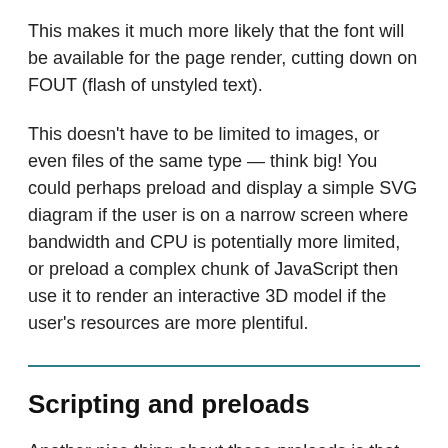This makes it much more likely that the font will be available for the page render, cutting down on FOUT (flash of unstyled text).
This doesn't have to be limited to images, or even files of the same type — think big! You could perhaps preload and display a simple SVG diagram if the user is on a narrow screen where bandwidth and CPU is potentially more limited, or preload a complex chunk of JavaScript then use it to render an interactive 3D model if the user's resources are more plentiful.
Scripting and preloads
Another nice thing about these preloads is that you can